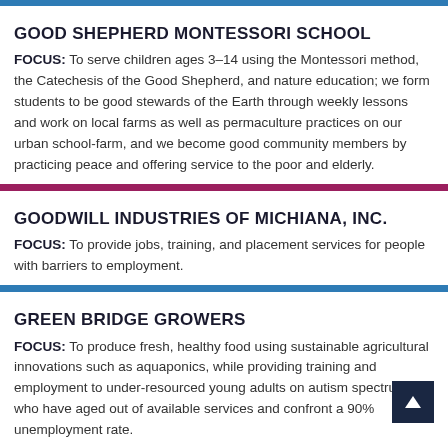GOOD SHEPHERD MONTESSORI SCHOOL
FOCUS: To serve children ages 3–14 using the Montessori method, the Catechesis of the Good Shepherd, and nature education; we form students to be good stewards of the Earth through weekly lessons and work on local farms as well as permaculture practices on our urban school-farm, and we become good community members by practicing peace and offering service to the poor and elderly.
GOODWILL INDUSTRIES OF MICHIANA, INC.
FOCUS: To provide jobs, training, and placement services for people with barriers to employment.
GREEN BRIDGE GROWERS
FOCUS: To produce fresh, healthy food using sustainable agricultural innovations such as aquaponics, while providing training and employment to under-resourced young adults on autism spectrum who have aged out of available services and confront a 90% unemployment rate.